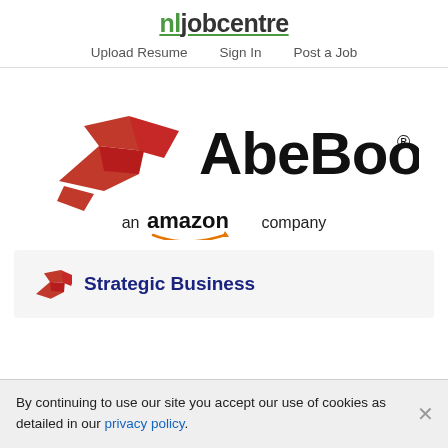nljobcentre — Upload Resume  Sign In  Post a Job
[Figure (logo): AbeBooks logo: red bird/book icon on left, bold black 'AbeBooks®' text on right, with 'an amazon company' tagline below in black and orange]
Strategic Business
By continuing to use our site you accept our use of cookies as detailed in our privacy policy.